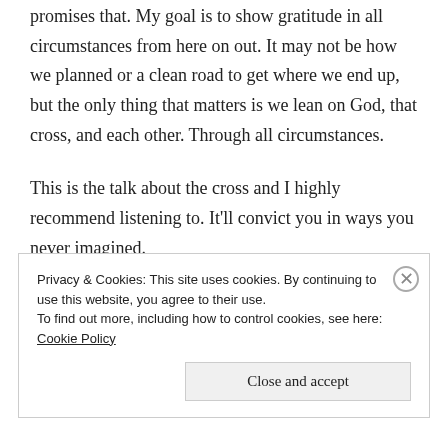promises that. My goal is to show gratitude in all circumstances from here on out. It may not be how we planned or a clean road to get where we end up, but the only thing that matters is we lean on God, that cross, and each other. Through all circumstances.
This is the talk about the cross and I highly recommend listening to. It'll convict you in ways you never imagined.
Privacy & Cookies: This site uses cookies. By continuing to use this website, you agree to their use.
To find out more, including how to control cookies, see here: Cookie Policy
Close and accept